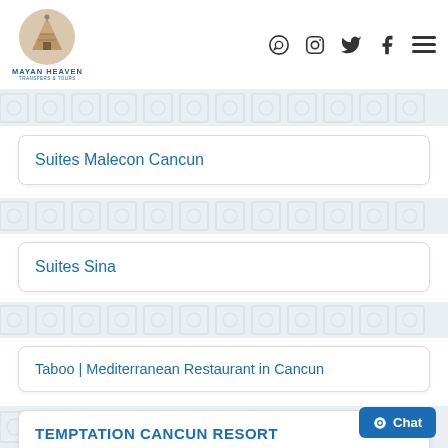[Figure (logo): Mayan Heaven Transfers & Tours logo with pyramid icon in circle and blue text]
Mayan Heaven Transfers & Tours — navigation header with social media icons (WhatsApp, Instagram, Twitter, Facebook) and hamburger menu
Suites Malecon Cancun
Suites Sina
Taboo | Mediterranean Restaurant in Cancun
TEMPTATION CANCUN RESORT
Chat